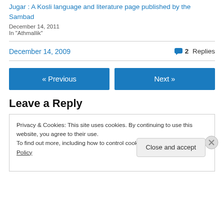Jugar : A Kosli language and literature page published by the Sambad
December 14, 2011
In "Athmallik"
December 14, 2009   2 Replies
« Previous
Next »
Leave a Reply
Privacy & Cookies: This site uses cookies. By continuing to use this website, you agree to their use.
To find out more, including how to control cookies, see here: Cookie Policy
Close and accept